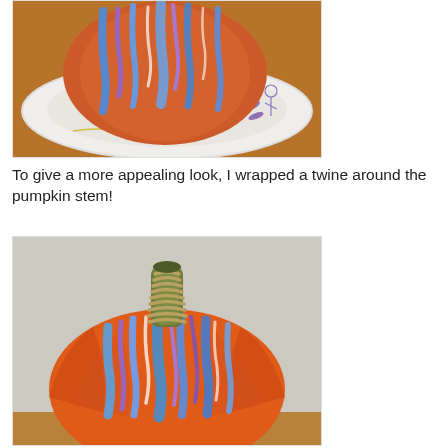[Figure (photo): A pumpkin viewed from above, painted with dripping blue, purple, and orange/red paint, resting on a decorated paper plate on a wooden surface.]
To give a more appealing look, I wrapped a twine around the pumpkin stem!
[Figure (photo): A painted pumpkin with blue, purple, pink, and orange dripping paint, with twine wrapped around the stem, sitting on a wooden surface against a light gray background.]